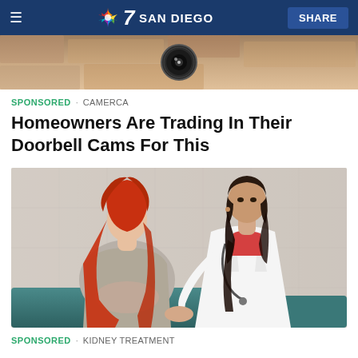7 SAN DIEGO   SHARE
[Figure (photo): Top partial image showing a camera or doorbell device close-up]
SPONSORED · CAMERCA
Homeowners Are Trading In Their Doorbell Cams For This
[Figure (photo): A doctor in a white lab coat examining a red-haired patient's back, with the doctor looking toward the camera]
SPONSORED · KIDNEY TREATMENT